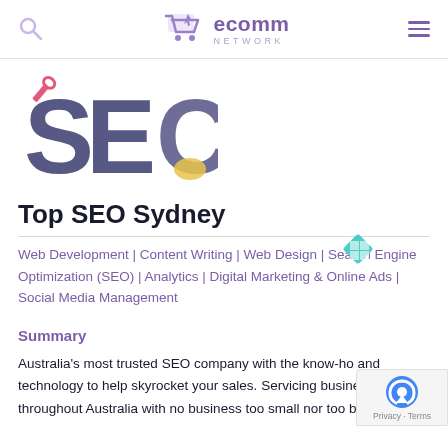ecomm NETWORK
[Figure (logo): Partial SEO logo with large letters S, E, C in dark blue/purple with a small wrench icon and yellow accent]
Top SEO Sydney
Web Development | Content Writing | Web Design | Search Engine Optimization (SEO) | Analytics | Digital Marketing & Online Ads | Social Media Management
Summary
Australia's most trusted SEO company with the know-how and technology to help skyrocket your sales. Servicing businesses throughout Australia with no business too small nor too big for